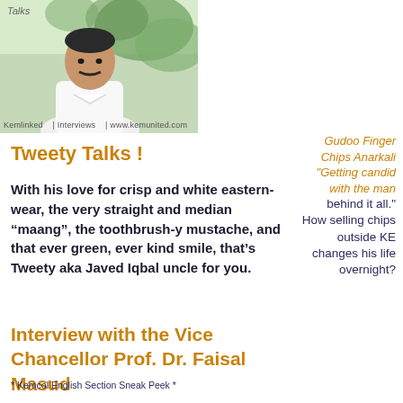[Figure (photo): A man in white eastern-wear, partial view, with green foliage in background. Bottom text reads: Kemlinked | Interviews | www.kemunited.com. Top left reads 'Talks' in italic.]
Gudoo Finger Chips Anarkali
"Getting candid with the man behind it all." How selling chips outside KE changes his life overnight?
Tweety Talks !
With his love for crisp and white eastern-wear, the very straight and median “maang”, the toothbrush-y mustache, and that ever green, ever kind smile, that’s Tweety aka Javed Iqbal uncle for you.
Interview with the Vice Chancellor Prof. Dr. Faisal Masud
* Kemcol English Section Sneak Peek *